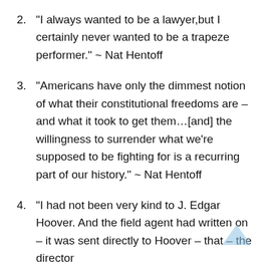2. “I always wanted to be a lawyer,but I certainly never wanted to be a trapeze performer.” ~ Nat Hentoff
3. “Americans have only the dimmest notion of what their constitutional freedoms are – and what it took to get them…[and] the willingness to surrender what we’re supposed to be fighting for is a recurring part of our history.” ~ Nat Hentoff
4. “I had not been very kind to J. Edgar Hoover. And the field agent had written on – it was sent directly to Hoover – that – the director